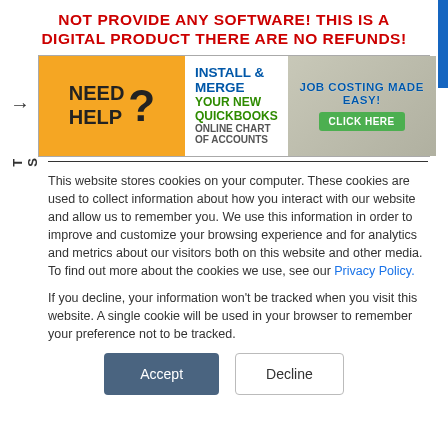NOT PROVIDE ANY SOFTWARE! THIS IS A DIGITAL PRODUCT THERE ARE NO REFUNDS!
[Figure (illustration): Advertisement banner: 'NEED HELP? INSTALL & MERGE YOUR NEW QUICKBOOKS ONLINE CHART OF ACCOUNTS — JOB COSTING MADE EASY! CLICK HERE']
This website stores cookies on your computer. These cookies are used to collect information about how you interact with our website and allow us to remember you. We use this information in order to improve and customize your browsing experience and for analytics and metrics about our visitors both on this website and other media. To find out more about the cookies we use, see our Privacy Policy.
If you decline, your information won't be tracked when you visit this website. A single cookie will be used in your browser to remember your preference not to be tracked.